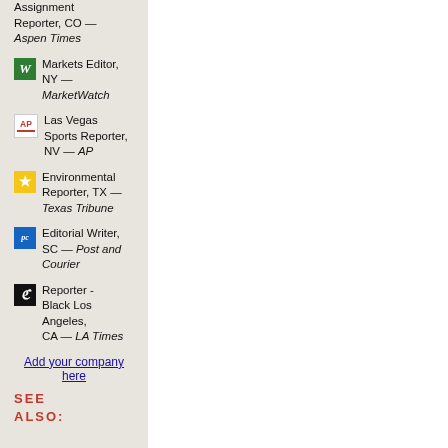Assignment Reporter, CO — Aspen Times
W Markets Editor, NY — MarketWatch
AP Las Vegas Sports Reporter, NV — AP
★ Environmental Reporter, TX — Texas Tribune
pc Editorial Writer, SC — Post and Courier
Reporter - Black Los Angeles, CA — LA Times
Add your company here
SEE ALSO: